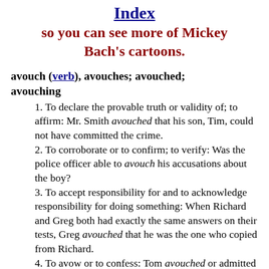Index
so you can see more of Mickey Bach's cartoons.
avouch (verb), avouches; avouched; avouching
1. To declare the provable truth or validity of; to affirm: Mr. Smith avouched that his son, Tim, could not have committed the crime.
2. To corroborate or to confirm; to verify: Was the police officer able to avouch his accusations about the boy?
3. To accept responsibility for and to acknowledge responsibility for doing something: When Richard and Greg both had exactly the same answers on their tests, Greg avouched that he was the one who copied from Richard.
4. To avow or to confess: Tom avouched or admitted that he had eaten some of the cake